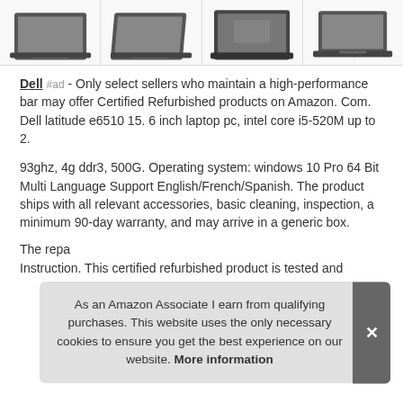[Figure (photo): Four thumbnail images of Dell laptop product from different angles, shown in a horizontal strip at the top of the page.]
Dell #ad - Only select sellers who maintain a high-performance bar may offer Certified Refurbished products on Amazon. Com. Dell latitude e6510 15. 6 inch laptop pc, intel core i5-520M up to 2.
93ghz, 4g ddr3, 500G. Operating system: windows 10 Pro 64 Bit Multi Language Support English/French/Spanish. The product ships with all relevant accessories, basic cleaning, inspection, a minimum 90-day warranty, and may arrive in a generic box.
The repa Instruction. This certified refurbished product is tested and
As an Amazon Associate I earn from qualifying purchases. This website uses the only necessary cookies to ensure you get the best experience on our website. More information